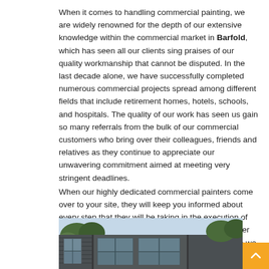When it comes to handling commercial painting, we are widely renowned for the depth of our extensive knowledge within the commercial market in Barfold, which has seen all our clients sing praises of our quality workmanship that cannot be disputed. In the last decade alone, we have successfully completed numerous commercial projects spread among different fields that include retirement homes, hotels, schools, and hospitals. The quality of our work has seen us gain so many referrals from the bulk of our commercial customers who bring over their colleagues, friends and relatives as they continue to appreciate our unwavering commitment aimed at meeting very stringent deadlines.
When our highly dedicated commercial painters come over to your site, they will keep you informed about every step that they will be taking in the execution of your project. In case you need any permits and other approvals, then you should not be worried because we will take care of all those processes.
[Figure (photo): Exterior photo of a dark grey/charcoal metal-clad commercial building with large windows, surrounded by trees under a blue sky.]